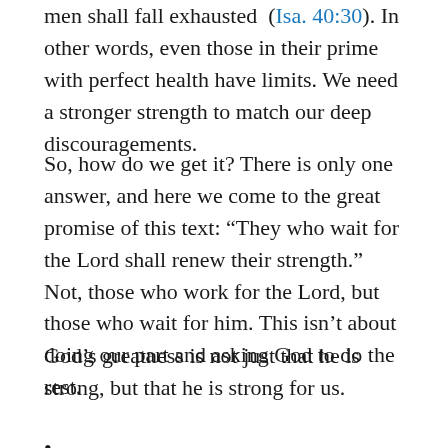men shall fall exhausted (Isa. 40:30). In other words, even those in their prime with perfect health have limits. We need a stronger strength to match our deep discouragements.
So, how do we get it? There is only one answer, and here we come to the great promise of this text: “They who wait for the Lord shall renew their strength.” Not, those who work for the Lord, but those who wait for him. This isn’t about doing our part and asking God to do the rest.
God’s greatness is not just that he is strong, but that he is strong for us.
•